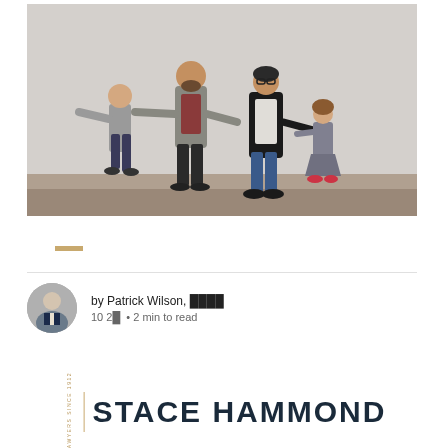[Figure (photo): A family of four — a man, a woman, a young boy, and a small girl — walking and holding hands outdoors near a wall, looking happy and active.]
—
by Patrick Wilson, ████
10 2█ • 2 min to read
[Figure (logo): Stace Hammond law firm logo with 'LAWYERS SINCE 1912' vertical text and bold firm name 'STACE HAMMOND']